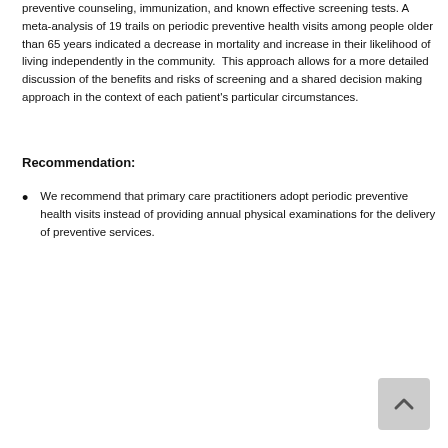preventive counseling, immunization, and known effective screening tests. A meta-analysis of 19 trails on periodic preventive health visits among people older than 65 years indicated a decrease in mortality and increase in their likelihood of living independently in the community.  This approach allows for a more detailed discussion of the benefits and risks of screening and a shared decision making approach in the context of each patient's particular circumstances.
Recommendation:
We recommend that primary care practitioners adopt periodic preventive health visits instead of providing annual physical examinations for the delivery of preventive services.